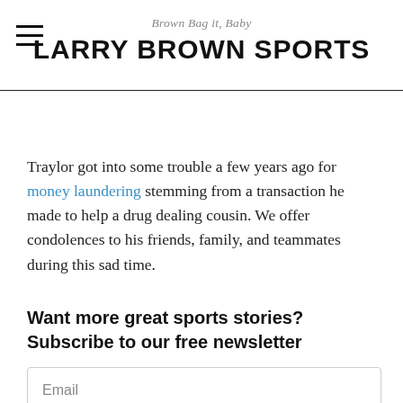Brown Bag it, Baby
LARRY BROWN SPORTS
Traylor got into some trouble a few years ago for money laundering stemming from a transaction he made to help a drug dealing cousin. We offer condolences to his friends, family, and teammates during this sad time.
Want more great sports stories? Subscribe to our free newsletter
Email